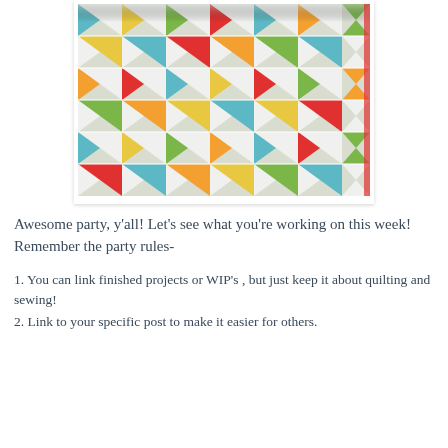[Figure (photo): A colorful patchwork quilt with triangular pieces in teal, yellow, red, green, and floral fabrics arranged in a geometric pattern on a white background.]
Awesome party, y'all!  Let's see what you're working on this week!  Remember the party rules-
1.  You can link finished projects or WIP's , but just keep it about quilting and sewing!
2. Link to your specific post to make it easier for others.